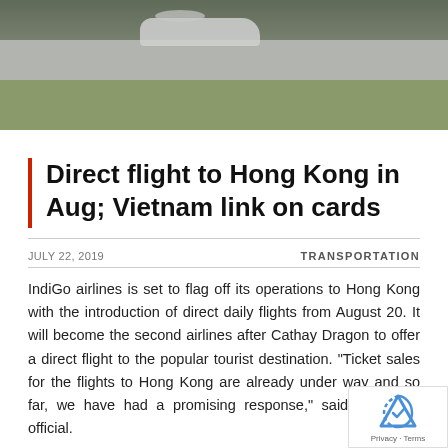[Figure (photo): Aerial/ground view of an airplane on a tarmac with green grass area visible]
Direct flight to Hong Kong in Aug; Vietnam link on cards
JULY 22, 2019
TRANSPORTATION
IndiGo airlines is set to flag off its operations to Hong Kong with the introduction of direct daily flights from August 20. It will become the second airlines after Cathay Dragon to offer a direct flight to the popular tourist destination. “Ticket sales for the flights to Hong Kong are already under way and so far, we have had a promising response,” said an airline official.